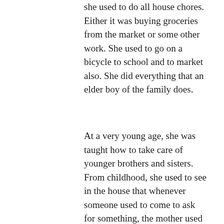she used to do all house chores. Either it was buying groceries from the market or some other work. She used to go on a bicycle to school and to market also. She did everything that an elder boy of the family does.
At a very young age, she was taught how to take care of younger brothers and sisters. From childhood, she used to see in the house that whenever someone used to come to ask for something, the mother used to let him sit and feed him, then bid farewell with some charity. From this, she learned the virtues of social service. Her mother was also an expert in